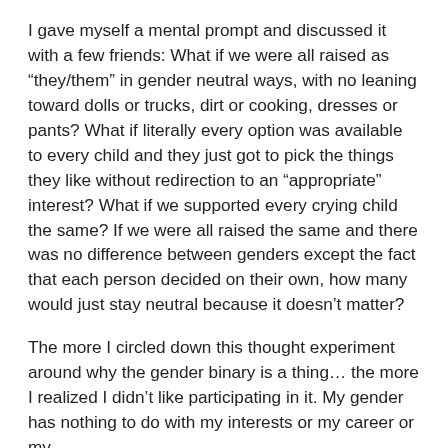I gave myself a mental prompt and discussed it with a few friends: What if we were all raised as “they/them” in gender neutral ways, with no leaning toward dolls or trucks, dirt or cooking, dresses or pants? What if literally every option was available to every child and they just got to pick the things they like without redirection to an “appropriate” interest? What if we supported every crying child the same? If we were all raised the same and there was no difference between genders except the fact that each person decided on their own, how many would just stay neutral because it doesn’t matter?
The more I circled down this thought experiment around why the gender binary is a thing… the more I realized I didn’t like participating in it. My gender has nothing to do with my interests or my career or my